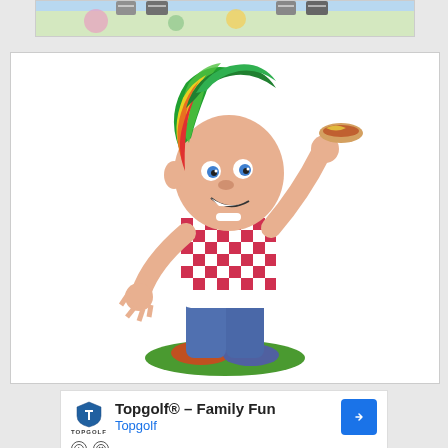[Figure (photo): Partial top view of figurines or cartoon character feet/shoes against a colorful background, cropped at top of page]
[Figure (photo): A cartoon-style figurine/bobblehead of a boy with rainbow-colored hair wearing a red and white checkered shirt and jeans, eating a hotdog, standing on a green base]
[Figure (other): Advertisement banner for Topgolf. Shows Topgolf logo (shield with golf tee icon), text 'Topgolf® - Family Fun' and 'Topgolf' in blue, with a blue diamond-shaped arrow button on the right. Below are play and close (X) button icons.]